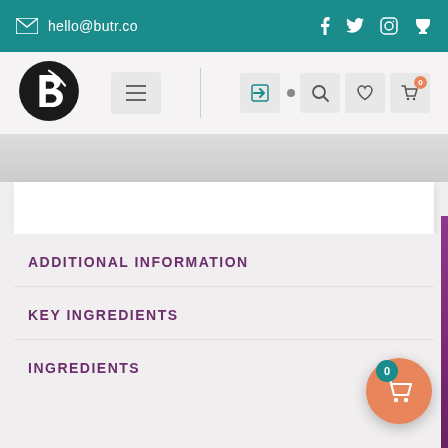hello@butr.co
[Figure (logo): Butr logo - dark circle with stylized B letter]
ADDITIONAL INFORMATION
KEY INGREDIENTS
INGREDIENTS